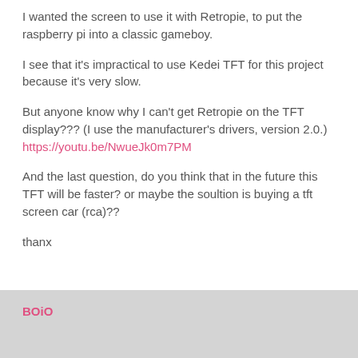I wanted the screen to use it with Retropie, to put the raspberry pi into a classic gameboy.
I see that it's impractical to use Kedei TFT for this project because it's very slow.
But anyone know why I can't get Retropie on the TFT display??? (I use the manufacturer's drivers, version 2.0.) https://youtu.be/NwueJk0m7PM
And the last question, do you think that in the future this TFT will be faster? or maybe the soultion is buying a tft screen car (rca)??
thanx
BOiO